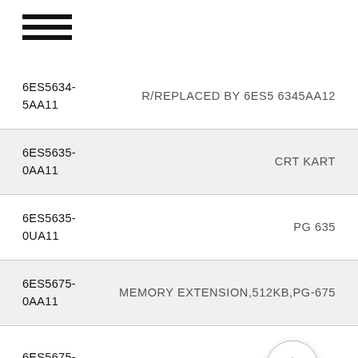[Figure (other): Hamburger menu icon (three horizontal lines)]
| Part Number | Description |
| --- | --- |
| 6ES5634-5AA11 | R/REPLACED BY 6ES5 6345AA12 |
| 6ES5635-0AA11 | CRT KART |
| 6ES5635-0UA11 | PG 635 |
| 6ES5675-0AA11 | MEMORY EXTENSION,512KB,PG-675 |
| 6ES5675-0UA11 | ...75 |
| ... | ... |